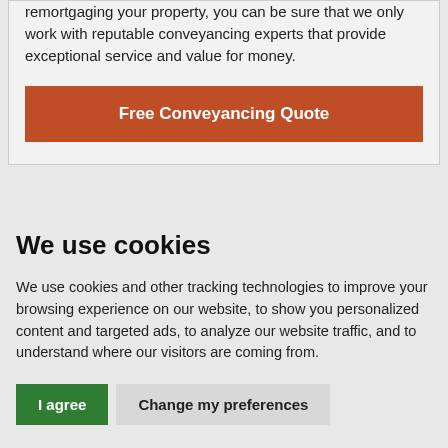remortgaging your property, you can be sure that we only work with reputable conveyancing experts that provide exceptional service and value for money.
Free Conveyancing Quote
We use cookies
We use cookies and other tracking technologies to improve your browsing experience on our website, to show you personalized content and targeted ads, to analyze our website traffic, and to understand where our visitors are coming from.
I agree
Change my preferences